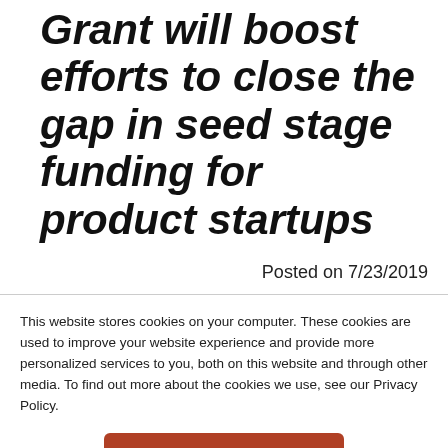Grant will boost efforts to close the gap in seed stage funding for product startups
Posted on 7/23/2019
This website stores cookies on your computer. These cookies are used to improve your website experience and provide more personalized services to you, both on this website and through other media. To find out more about the cookies we use, see our Privacy Policy.
Accept